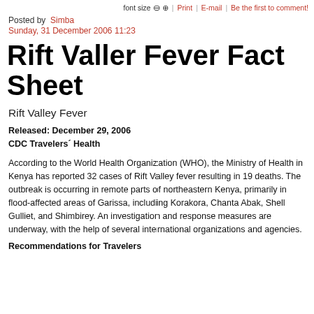font size ⊖ ⊕ | Print | E-mail | Be the first to comment!
Posted by Simba
Sunday, 31 December 2006 11:23
Rift Valler Fever Fact Sheet
Rift Valley Fever
Released: December 29, 2006
CDC Travelers´ Health
According to the World Health Organization (WHO), the Ministry of Health in Kenya has reported 32 cases of Rift Valley fever resulting in 19 deaths. The outbreak is occurring in remote parts of northeastern Kenya, primarily in flood-affected areas of Garissa, including Korakora, Chanta Abak, Shell Gulliet, and Shimbirey. An investigation and response measures are underway, with the help of several international organizations and agencies.
Recommendations for Travelers